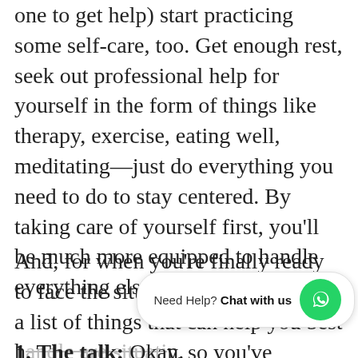one to get help) start practicing some self-care, too. Get enough rest, seek out professional help for yourself in the form of things like therapy, exercise, eating well, meditating—just do everything you need to do to stay centered. By taking care of yourself first, you'll be much more equipped to handle everything else.
And, for when you're finally ready to face the situation, we've compiled a list of things that can help you best handle the situation.
1. The talk: Okay, so you've brushed